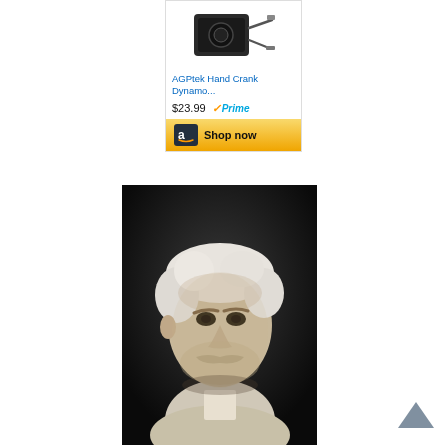[Figure (screenshot): Amazon advertisement for AGPtek Hand Crank Dynamo product showing product image, price $23.99, Prime badge, and Shop now button]
[Figure (photo): Black and white portrait photograph of an elderly man with white curly hair and a mustache, wearing a light-colored suit, likely Mark Twain]